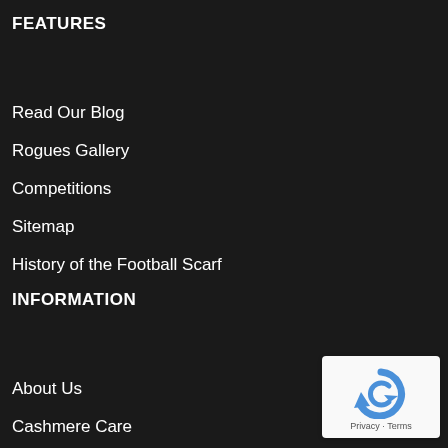FEATURES
Read Our Blog
Rogues Gallery
Competitions
Sitemap
History of the Football Scarf
INFORMATION
About Us
Cashmere Care
Retailers
[Figure (logo): reCAPTCHA badge with Privacy and Terms text]